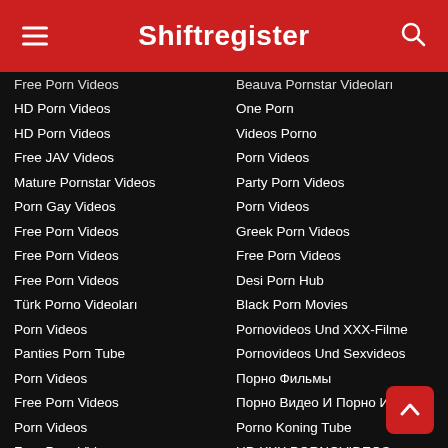Shiftregister
Free Porn Videos
HD Porn Videos
HD Porn Videos
Free JAV Videos
Mature Pornstar Videos
Porn Gay Videos
Free Porn Videos
Free Porn Videos
Free Porn Videos
Türk Porno Videoları
Porn Videos
Panties Porn Tube
Porn Videos
Free Porn Videos
Porn Videos
Free Porn Videos
Porn Videos
Free Porn Videos
Porn Videos
Porn Videos
Free Porn Videos
Beauva Pornstar Videoları
One Porn
Videos Porno
Porn Videos
Party Porn Videos
Porn Videos
Greek Porn Videos
Free Porn Videos
Desi Porn Hub
Black Porn Movies
Pornovideos Und XXX-Filme
Pornovideos Und Sexvideos
Порно Фильмы
Порно Видео И Порно Истор...
Porno Koning Tube
HD XXX PORNOVIDEOS
Free Porn Videos
Free Porn Videos
Porn Videos
Porn Videos
Porn Videos
Porn Videos